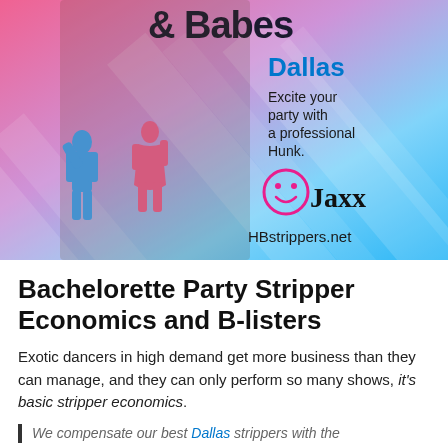[Figure (photo): Advertisement image for HBstrippers.net featuring a muscular male dancer on a colorful gradient background with pink and blue diagonal stripes. Text includes '& Babes', 'Dallas', 'Excite your party with a professional Hunk.', a smiley face logo with 'Jaxx' signature, blue and pink silhouettes of dancers, and 'HBstrippers.net'.]
Bachelorette Party Stripper Economics and B-listers
Exotic dancers in high demand get more business than they can manage, and they can only perform so many shows, it's basic stripper economics.
We compensate our best Dallas strippers with the